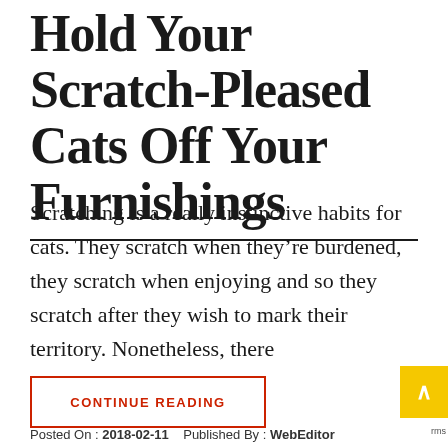Hold Your Scratch-Pleased Cats Off Your Furnishings
Scratching is a really instinctive habits for cats. They scratch when they’re burdened, they scratch when enjoying and so they scratch after they wish to mark their territory. Nonetheless, there
CONTINUE READING
Posted On : 2018-02-11   Published By : WebEditor